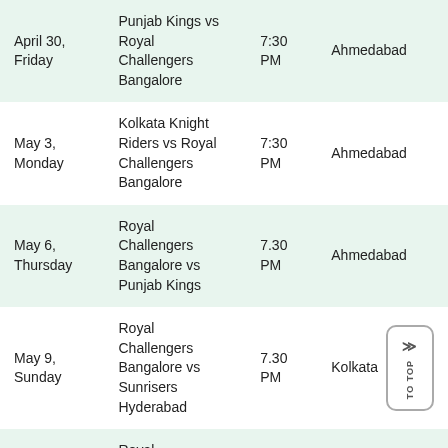| Date | Match | Time | Venue |
| --- | --- | --- | --- |
| April 30, Friday | Punjab Kings vs Royal Challengers Bangalore | 7:30 PM | Ahmedabad |
| May 3, Monday | Kolkata Knight Riders vs Royal Challengers Bangalore | 7:30 PM | Ahmedabad |
| May 6, Thursday | Royal Challengers Bangalore vs Punjab Kings | 7.30 PM | Ahmedabad |
| May 9, Sunday | Royal Challengers Bangalore vs Sunrisers Hyderabad | 7.30 PM | Kolkata |
|  | Royal |  |  |